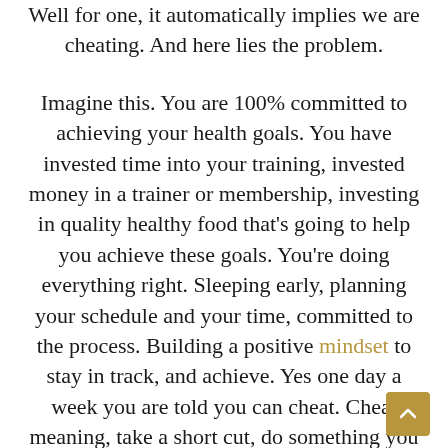Well for one, it automatically implies we are cheating. And here lies the problem.
Imagine this. You are 100% committed to achieving your health goals. You have invested time into your training, invested money in a trainer or membership, investing in quality healthy food that's going to help you achieve these goals. You're doing everything right. Sleeping early, planning your schedule and your time, committed to the process. Building a positive mindset to stay in track, and achieve. Yes one day a week you are told you can cheat. Cheat meaning, take a short cut, do something you shouldn't be doing. This goes against your morals, your values and your integrity. This is totally opposite to the direction you want to